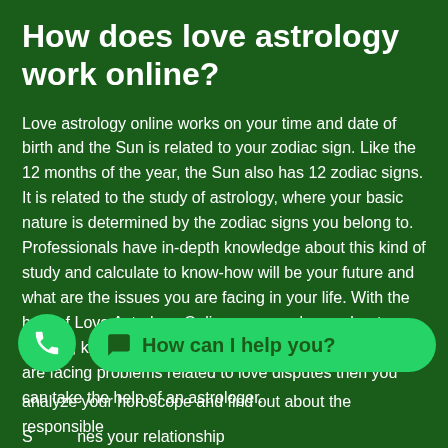How does love astrology work online?
Love astrology online works on your time and date of birth and the Sun is related to your zodiac sign. Like the 12 months of the year, the Sun also has 12 zodiac signs. It is related to the study of astrology, where your basic nature is determined by the zodiac signs you belong to. Professionals have in-depth knowledge about this kind of study and calculate to know-how will be your future and what are the issues you are facing in your life. With the help of Love Astrology Online, you can know about your partner, know about your romance in love life, etc. If you are facing problems related to love disputes then you can take the help of an astrologer.
S...nes your relationship... fix that problem by t... analyze your horoscope and find out about the responsible
[Figure (other): Green circular phone/call button (WhatsApp style)]
[Figure (other): WhatsApp chat widget button with text 'How can I help you?']